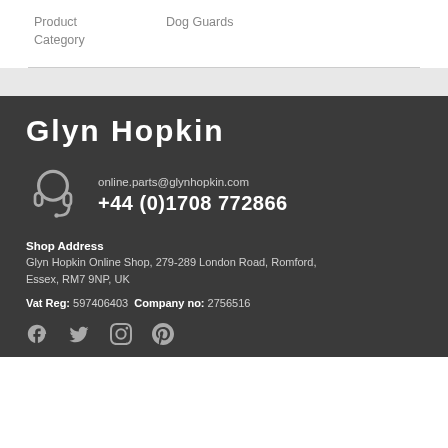| Product Category | Dog Guards |
| --- | --- |
Glyn Hopkin
online.parts@glynhopkin.com
+44 (0)1708 772866
Shop Address
Glyn Hopkin Online Shop, 279-289 London Road, Romford, Essex, RM7 9NP, UK
Vat Reg: 597406403  Company no: 2756516